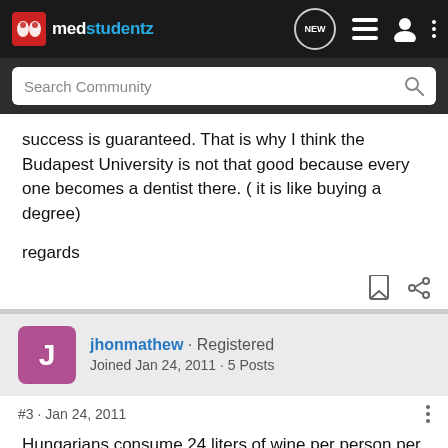medstudentz
Search Community
success is guaranteed. That is why I think the Budapest University is not that good because every one becomes a dentist there. ( it is like buying a degree)

regards
jhonmathew · Registered
Joined Jan 24, 2011 · 5 Posts
#3 · Jan 24, 2011
Hungarians consume 24 liters of wine per person per year. This puts them in seventh place among the nations winedrinking,